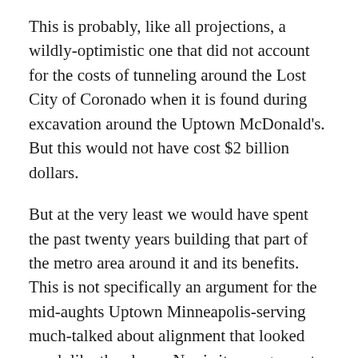This is probably, like all projections, a wildly-optimistic one that did not account for the costs of tunneling around the Lost City of Coronado when it is found during excavation around the Uptown McDonald's. But this would not have cost $2 billion dollars.
But at the very least we would have spent the past twenty years building that part of the metro area around it and its benefits. This is not specifically an argument for the mid-aughts Uptown Minneapolis-serving much-talked about alignment that looked much like the above. Nor is it an argument that ignores that we built two good transit lines in the meantime–we did good and smart things there to the extent we were politically able.
But right now in A.D. 2015 as we consider what this